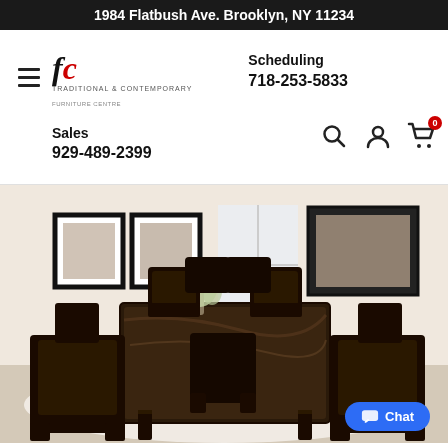1984 Flatbush Ave. Brooklyn, NY 11234
[Figure (logo): FC Traditional & Contemporary Furniture Centre logo]
Scheduling
718-253-5833
Sales
929-489-2399
[Figure (photo): Dining room set with a marble-top square table and 8 dark espresso bar stools/chairs, with framed wall art in background]